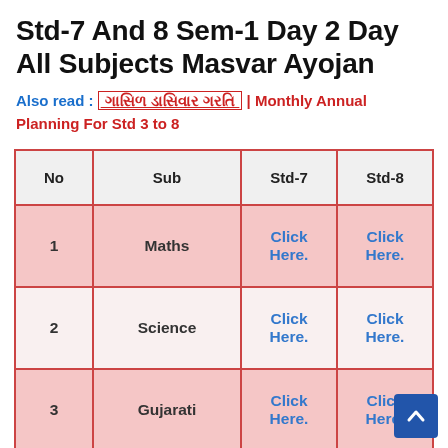Std-7 And 8 Sem-1 Day 2 Day All Subjects Masvar Ayojan
Also read : [Gujarati text link] | Monthly Annual Planning For Std 3 to 8
| No | Sub | Std-7 | Std-8 |
| --- | --- | --- | --- |
| 1 | Maths | Click Here. | Click Here. |
| 2 | Science | Click Here. | Click Here. |
| 3 | Gujarati | Click Here. | Click Here. |